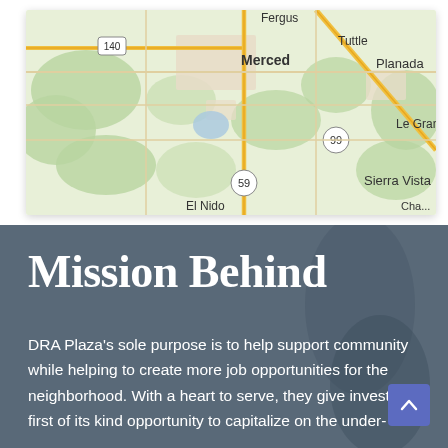[Figure (map): Google Maps view of Merced, California area showing Fergus, Merced, Tuttle, Planada, Le Grand, Sierra Vista, El Nido locations with highways 140, 99, and 59 marked]
Mission Behind
DRA Plaza's sole purpose is to help support community while helping to create more job opportunities for the neighborhood. With a heart to serve, they give investor first of its kind opportunity to capitalize on the under-